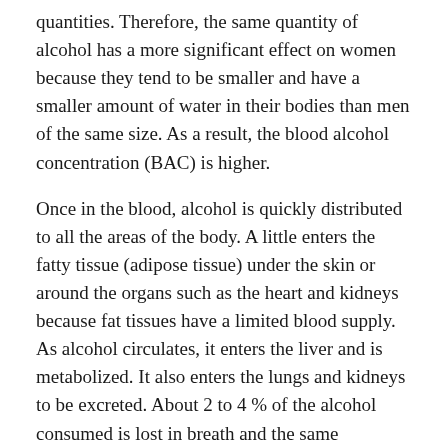quantities. Therefore, the same quantity of alcohol has a more significant effect on women because they tend to be smaller and have a smaller amount of water in their bodies than men of the same size. As a result, the blood alcohol concentration (BAC) is higher.
Once in the blood, alcohol is quickly distributed to all the areas of the body. A little enters the fatty tissue (adipose tissue) under the skin or around the organs such as the heart and kidneys because fat tissues have a limited blood supply. As alcohol circulates, it enters the liver and is metabolized. It also enters the lungs and kidneys to be excreted. About 2 to 4 % of the alcohol consumed is lost in breath and the same proportion in urine. This